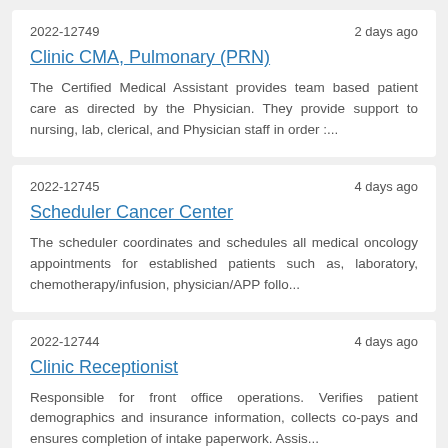2022-12749
2 days ago
Clinic CMA, Pulmonary (PRN)
The Certified Medical Assistant provides team based patient care as directed by the Physician. They provide support to nursing, lab, clerical, and Physician staff in order :...
2022-12745
4 days ago
Scheduler Cancer Center
The scheduler coordinates and schedules all medical oncology appointments for established patients such as, laboratory, chemotherapy/infusion, physician/APP follo...
2022-12744
4 days ago
Clinic Receptionist
Responsible for front office operations. Verifies patient demographics and insurance information, collects co-pays and ensures completion of intake paperwork. Assis...